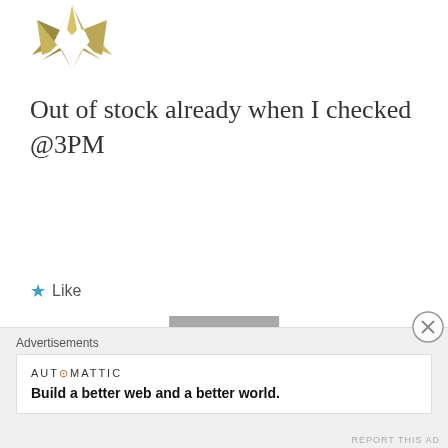[Figure (logo): Gold/olive stylized asterisk or star logo in top-left, partially cut off]
Out of stock already when I checked @3PM
★ Like
REPLY
[Figure (photo): Circular avatar photo of a man in a dark shirt, Gaurav Shukla]
Gaurav Shukla
JUNE 7, 2014 AT 3:33 PM
The white version is still on sale..
Advertisements
AUT⊙MATTIC
Build a better web and a better world.